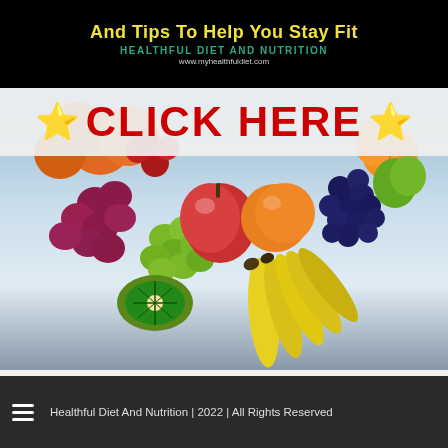And Tips To Help You Stay Fit
Healthful Diet And Nutrition
www.myhealthfuldiet.com
[Figure (illustration): Promotional banner with 'CLICK HERE' text flanked by gold stars, overlaid on a fruit arrangement image showing bananas, grapes, apples, oranges, kiwis, and other fruits on a blue gradient background]
Healthful Diet And Nutrition | 2022 | All Rights Reserved